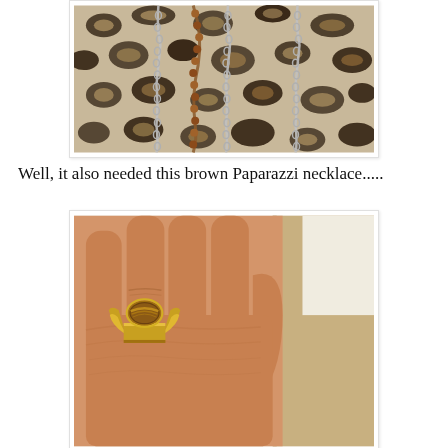[Figure (photo): Close-up photo of necklaces displayed against a leopard print fabric background. Multiple silver chains and a brown beaded necklace are visible.]
Well, it also needed this brown Paparazzi necklace.....
[Figure (photo): Photo of a hand wearing a gold ring with a tiger's eye stone, displayed against a light background with a wooden surface visible.]